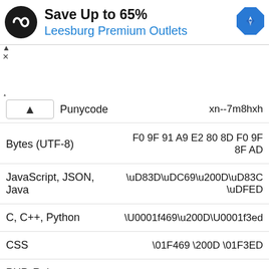[Figure (infographic): Advertisement banner: circular black logo with infinity-style icon, text 'Save Up to 65%' and 'Leesburg Premium Outlets' in blue, blue navigation/map diamond icon on right]
|  |  |
| --- | --- |
| Punycode | xn--7m8hxh |
| Bytes (UTF-8) | F0 9F 91 A9 E2 80 8D F0 9F 8F AD |
| JavaScript, JSON, Java | \uD83D\uDC69\u200D\uD83C\uDFED |
| C, C++, Python | \U0001f469\u200D\U0001f3ed |
| CSS | \01F469 \200D \01F3ED |
| PHP, Ruby | \u{1F469}\u{200D}\u{1F3ED} |
| Perl | \x{1F469}\x{200D}\x{1F3 |